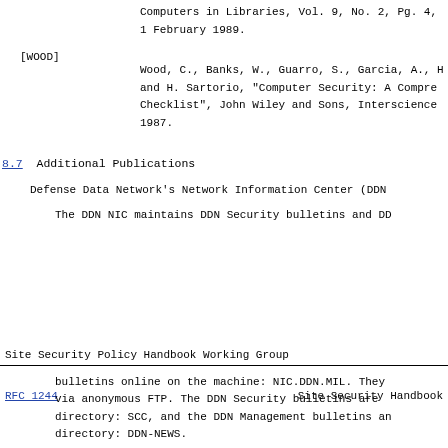Computers in  Libraries, Vol. 9, No. 2, Pg. 4,
1 February 1989.
[WOOD]
Wood, C., Banks, W., Guarro, S., Garcia, A., H
and H. Sartorio, "Computer Security:  A Compre
Checklist", John Wiley and Sons, Interscience
1987.
8.7  Additional Publications
Defense Data Network's Network Information Center (DDN
The DDN NIC maintains DDN Security bulletins and DD
Site Security Policy Handbook Working Group
RFC 1244                Site Security Handbook
bulletins online on the machine: NIC.DDN.MIL.  They
via anonymous FTP.  The DDN Security bulletins are
directory: SCC, and the DDN Management bulletins an
directory: DDN-NEWS.